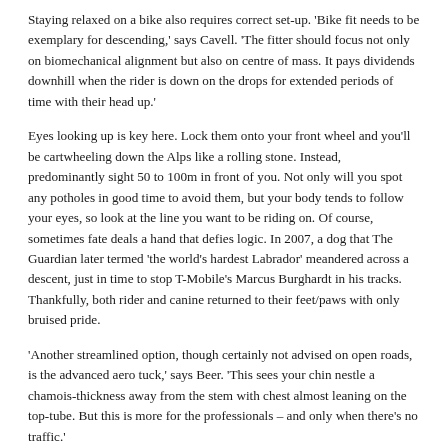Staying relaxed on a bike also requires correct set-up. 'Bike fit needs to be exemplary for descending,' says Cavell. 'The fitter should focus not only on biomechanical alignment but also on centre of mass. It pays dividends downhill when the rider is down on the drops for extended periods of time with their head up.'
Eyes looking up is key here. Lock them onto your front wheel and you'll be cartwheeling down the Alps like a rolling stone. Instead, predominantly sight 50 to 100m in front of you. Not only will you spot any potholes in good time to avoid them, but your body tends to follow your eyes, so look at the line you want to be riding on. Of course, sometimes fate deals a hand that defies logic. In 2007, a dog that The Guardian later termed 'the world's hardest Labrador' meandered across a descent, just in time to stop T-Mobile's Marcus Burghardt in his tracks. Thankfully, both rider and canine returned to their feet/paws with only bruised pride.
'Another streamlined option, though certainly not advised on open roads, is the advanced aero tuck,' says Beer. 'This sees your chin nestle a chamois-thickness away from the stem with chest almost leaning on the top-tube. But this is more for the professionals – and only when there's no traffic.'